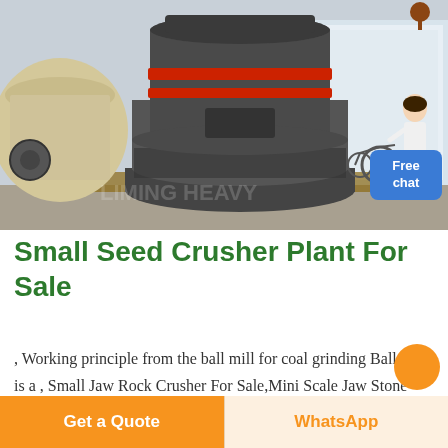[Figure (photo): Industrial crusher or grinding mill machine — large cylindrical dark gray machine with red horizontal bands around the upper section, sitting on a platform in an indoor facility. Other machinery visible on the left. A tricycle/cart visible in background. A woman in white coat visible in upper right corner near a 'Free chat' badge.]
Small Seed Crusher Plant For Sale
, Working principle from the ball mill for coal grinding Ball mill is a , Small Jaw Rock Crusher For Sale,Mini Scale Jaw Stone Rock Jaw Ball Mill b...
Get a Quote
WhatsApp